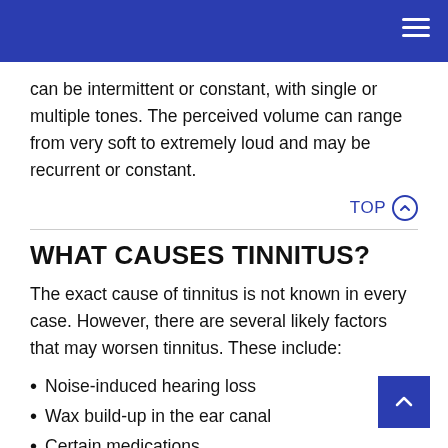can be intermittent or constant, with single or multiple tones. The perceived volume can range from very soft to extremely loud and may be recurrent or constant.
TOP ⊕
WHAT CAUSES TINNITUS?
The exact cause of tinnitus is not known in every case. However, there are several likely factors that may worsen tinnitus. These include:
Noise-induced hearing loss
Wax build-up in the ear canal
Certain medications